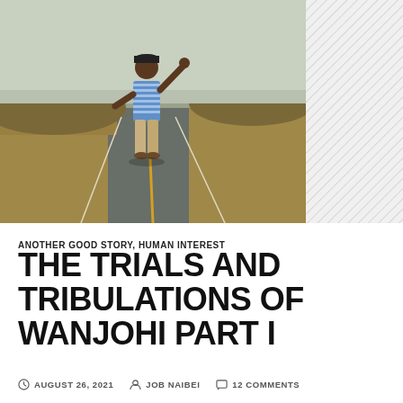[Figure (photo): A man in a blue striped shirt and khaki pants standing on an empty two-lane road in an arid landscape, raising one arm upward, with dry brown hills in the background. A diagonal hatching pattern fills the upper-right area of the image block.]
ANOTHER GOOD STORY, HUMAN INTEREST
THE TRIALS AND TRIBULATIONS OF WANJOHI PART I
AUGUST 26, 2021  JOB NAIBEI  12 COMMENTS